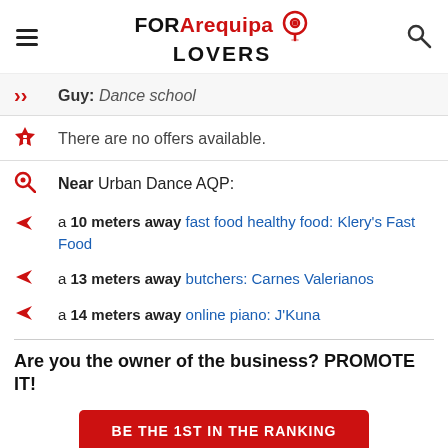FOR Arequipa LOVERS
Guy: Dance school
There are no offers available.
Near Urban Dance AQP:
a 10 meters away fast food healthy food: Klery's Fast Food
a 13 meters away butchers: Carnes Valerianos
a 14 meters away online piano: J'Kuna
Are you the owner of the business? PROMOTE IT!
BE THE 1ST IN THE RANKING
EXCLUSIVE PAGE